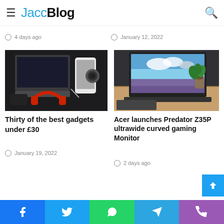JaccBlog
How to Use Your Android Phone Apps — 4 days ago
CLSA: China shadow finance losses could come to 3.7% of GDP — January 12, 2022
[Figure (photo): Flat lay of tech gadgets: laptop, smartphone, camera, red headphones on dark background]
Thirty of the best gadgets under £30
January 19, 2022
[Figure (photo): Acer laptop open on wooden desk with plant and cloudy sky on screen, dark background]
Acer launches Predator Z35P ultrawide curved gaming Monitor
2 days ago